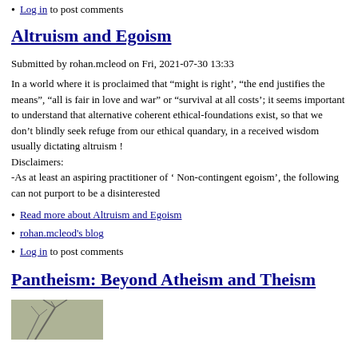Log in to post comments
Altruism and Egoism
Submitted by rohan.mcleod on Fri, 2021-07-30 13:33
In a world where it is proclaimed that “might is right’, “the end justifies the means”, “all is fair in love and war” or “survival at all costs’; it seems important to understand that alternative coherent ethical-foundations exist, so that we don’t blindly seek refuge from our ethical quandary, in a received wisdom usually dictating altruism ! Disclaimers: -As at least an aspiring practitioner of ‘ Non-contingent egoism’, the following can not purport to be a disinterested
Read more about Altruism and Egoism
rohan.mcleod's blog
Log in to post comments
Pantheism: Beyond Atheism and Theism
[Figure (photo): Small photo thumbnail, appears to be a nature/portrait image with tree branches visible]